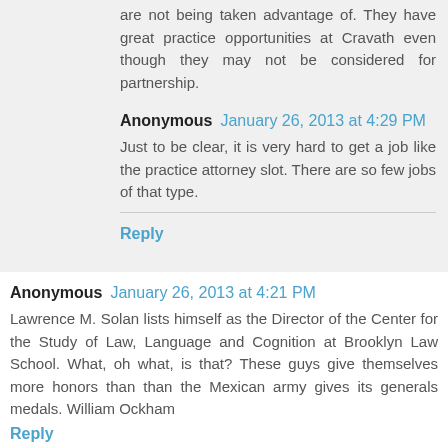are not being taken advantage of. They have great practice opportunities at Cravath even though they may not be considered for partnership.
Anonymous January 26, 2013 at 4:29 PM
Just to be clear, it is very hard to get a job like the practice attorney slot. There are so few jobs of that type.
Reply
Anonymous January 26, 2013 at 4:21 PM
Lawrence M. Solan lists himself as the Director of the Center for the Study of Law, Language and Cognition at Brooklyn Law School. What, oh what, is that? These guys give themselves more honors than than the Mexican army gives its generals medals. William Ockham
Reply